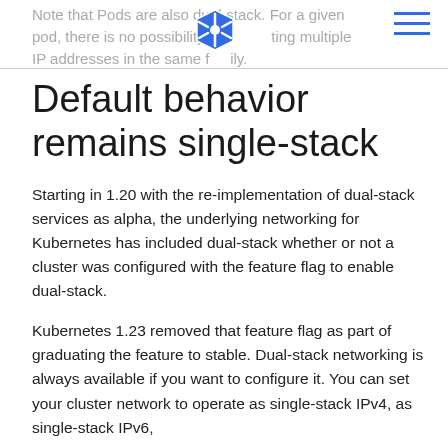Note that Pods are also dual-stack. For a given pod, there is no possibility of having multiple IP addresses in the same family.
Default behavior remains single-stack
Starting in 1.20 with the re-implementation of dual-stack services as alpha, the underlying networking for Kubernetes has included dual-stack whether or not a cluster was configured with the feature flag to enable dual-stack.
Kubernetes 1.23 removed that feature flag as part of graduating the feature to stable. Dual-stack networking is always available if you want to configure it. You can set your cluster network to operate as single-stack IPv4, as single-stack IPv6,